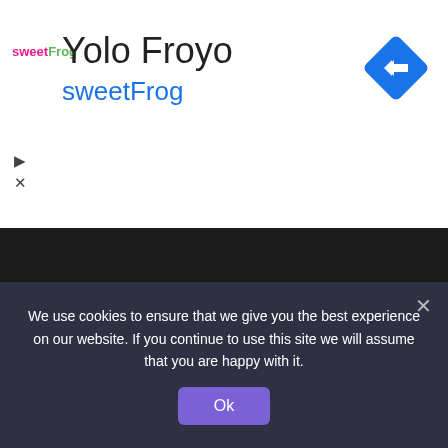[Figure (logo): sweetFrog logo — pink 'sweet' and green 'Frog' text]
Yolo Froyo
sweetFrog
[Figure (logo): Blue diamond navigation/directions icon]
Categories
Sports  6,569
Soccer  4,531
Golf  2,736
MLB  2,550
NFL  2,187
We use cookies to ensure that we give you the best experience on our website. If you continue to use this site we will assume that you are happy with it.